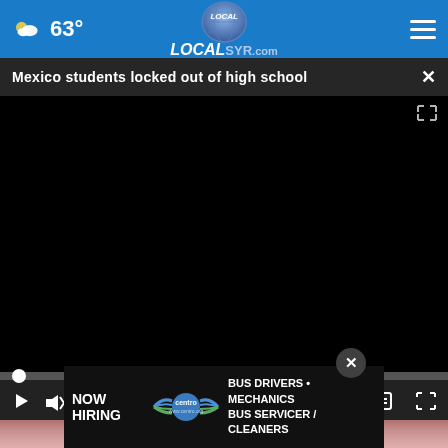63° LOCALsyr.com
Mexico students locked out of high school
[Figure (screenshot): Embedded video player showing a black screen with playback controls: play button, mute button, time counter showing 00:00, captions button, and fullscreen button. A progress bar runs along the top of the controls area with a white circle dot at the left end.]
[Figure (photo): Partial photo visible at bottom of page, appearing to show a close-up of a mouth/teeth. An advertisement overlay from Centro is displayed in front of it reading NOW HIRING BUS DRIVERS · MECHANICS BUS SERVICER / CLEANERS www.centro.org]